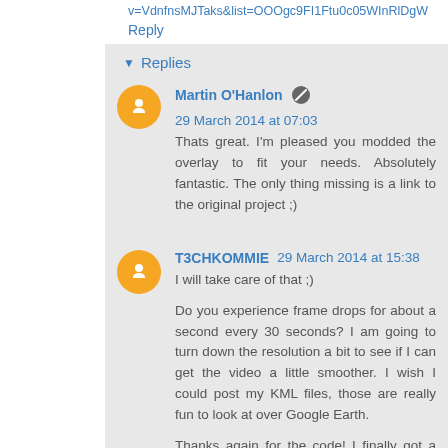v=VdnfnsMJTaks&list=OOOgc9FI1Ftu0c05WInRlDgW
Reply
Replies
Martin O'Hanlon  29 March 2014 at 07:03
Thats great. I'm pleased you modded the overlay to fit your needs. Absolutely fantastic. The only thing missing is a link to the original project ;)
T3CHKOMMIE  29 March 2014 at 15:38
I will take care of that ;)

Do you experience frame drops for about a second every 30 seconds? I am going to turn down the resolution a bit to see if I can get the video a little smoother. I wish I could post my KML files, those are really fun to look at over Google Earth.

Thanks again for the code! I finally got a better